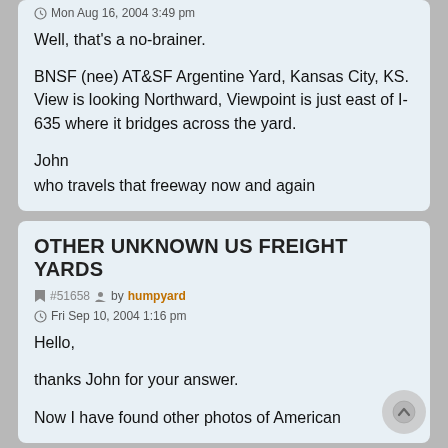Mon Aug 16, 2004 3:49 pm
Well, that's a no-brainer.

BNSF (nee) AT&SF Argentine Yard, Kansas City, KS. View is looking Northward, Viewpoint is just east of I-635 where it bridges across the yard.

John
who travels that freeway now and again
OTHER UNKNOWN US FREIGHT YARDS
#51658  by humpyard
Fri Sep 10, 2004 1:16 pm
Hello,

thanks John for your answer.

Now I have found other photos of American